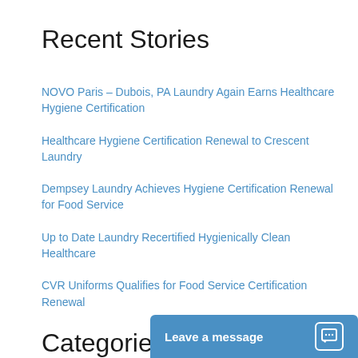Recent Stories
NOVO Paris – Dubois, PA Laundry Again Earns Healthcare Hygiene Certification
Healthcare Hygiene Certification Renewal to Crescent Laundry
Dempsey Laundry Achieves Hygiene Certification Renewal for Food Service
Up to Date Laundry Recertified Hygienically Clean Healthcare
CVR Uniforms Qualifies for Food Service Certification Renewal
Categories
Leave a message